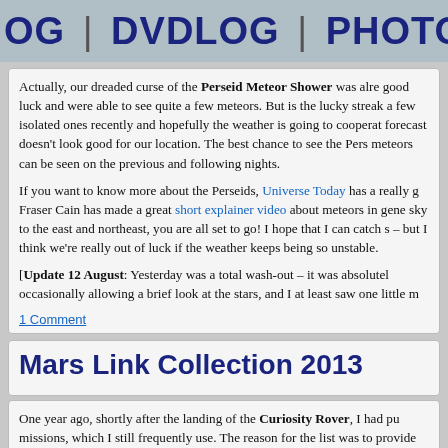OG | DVDLOG | PHOTO | MORE §
Actually, our dreaded curse of the Perseid Meteor Shower was already good luck and were able to see quite a few meteors. But is the lucky streak a few isolated ones recently and hopefully the weather is going to cooperate forecast doesn't look good for our location. The best chance to see the Pers meteors can be seen on the previous and following nights.
If you want to know more about the Perseids, Universe Today has a really g Fraser Cain has made a great short explainer video about meteors in gene sky to the east and northeast, you are all set to go! I hope that I can catch s – but I think we're really out of luck if the weather keeps being so unstable.
[Update 12 August: Yesterday was a total wash-out – it was absolutely occasionally allowing a brief look at the stars, and I at least saw one little m
1 Comment
Mars Link Collection 2013
One year ago, shortly after the landing of the Curiosity Rover, I had pu missions, which I still frequently use. The reason for the list was to provide about the Mars missions myself, something which others are doing in a mu NASA and the Mars missions since then, but even one year later all these li keep up with what's going on on Mars.